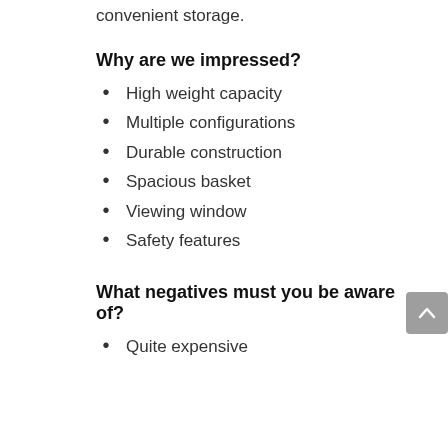convenient storage.
Why are we impressed?
High weight capacity
Multiple configurations
Durable construction
Spacious basket
Viewing window
Safety features
What negatives must you be aware of?
Quite expensive